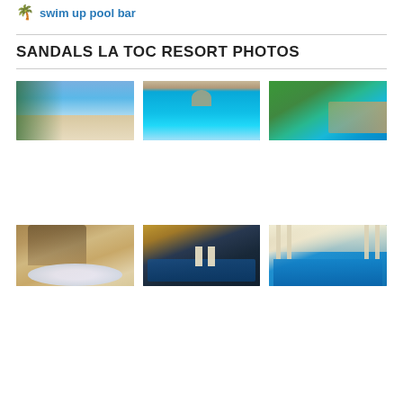🌴 swim up pool bar
SANDALS LA TOC RESORT PHOTOS
[Figure (photo): Beach view with white sand and turquoise water, lush green trees on left]
[Figure (photo): Aerial overhead view of large resort pool with gazebo structure and lounge chairs]
[Figure (photo): Aerial view of coastline with turquoise water, peninsula, and resort buildings]
[Figure (photo): Resort villa exterior with hot tub/jacuzzi, stone patio and tropical landscaping]
[Figure (photo): Evening shot of infinity pool overlooking bay, two people standing by pool]
[Figure (photo): Swim-up pool bar with white columns and covered structure, blue pool water]